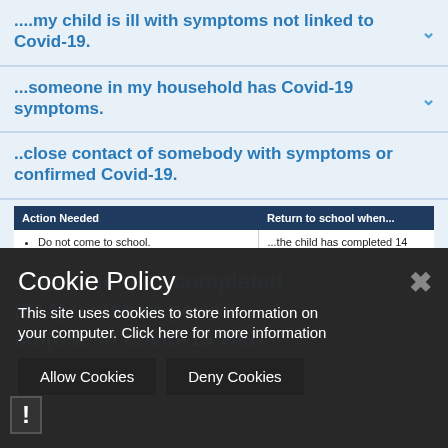....my child is ill with symptoms not linked to Covid-19.
...someone in my household has Covid-19 symptoms.
..close contact of somebody with symptoms or confirmed Covid-19.
| Action Needed | Return to school when... |
| --- | --- |
| • Do not come to school.
• Contact school to inform us.
• Agree the earliest date for possible return (minimum of 14 days). | ...the child has completed 14 days of isolation. |
Cookie Policy
This site uses cookies to store information on your computer. Click here for more information
Allow Cookies    Deny Cookies